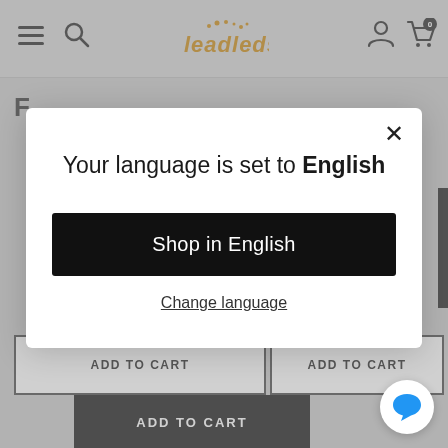Leadleds navigation bar with hamburger menu, search, logo, user icon, and cart
[Figure (screenshot): Partial webpage background showing an e-commerce site with greyed-out content behind a modal dialog. Shows 'F' partial text, ADD TO CART buttons, and a dark sidebar element.]
Your language is set to English
Shop in English
Change language